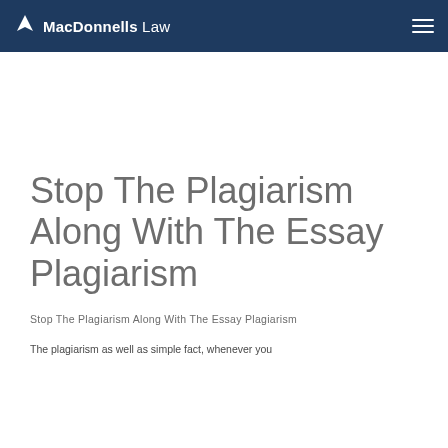MacDonnells Law
Stop The Plagiarism Along With The Essay Plagiarism
Stop The Plagiarism Along With The Essay Plagiarism
The plagiarism as well as simple fact, whenever you